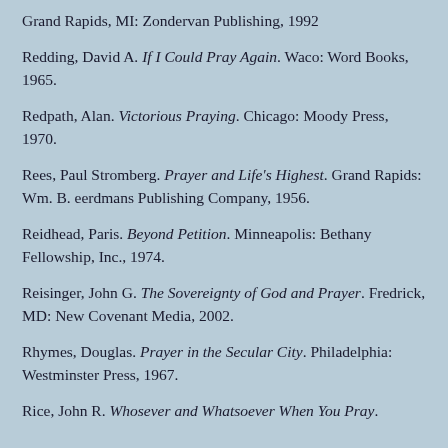Grand Rapids, MI: Zondervan Publishing, 1992
Redding, David A. If I Could Pray Again. Waco: Word Books, 1965.
Redpath, Alan. Victorious Praying. Chicago: Moody Press, 1970.
Rees, Paul Stromberg. Prayer and Life's Highest. Grand Rapids: Wm. B. eerdmans Publishing Company, 1956.
Reidhead, Paris. Beyond Petition. Minneapolis: Bethany Fellowship, Inc., 1974.
Reisinger, John G. The Sovereignty of God and Prayer. Fredrick, MD: New Covenant Media, 2002.
Rhymes, Douglas. Prayer in the Secular City. Philadelphia: Westminster Press, 1967.
Rice, John R. Whosever and Whatsoever When You Pray.